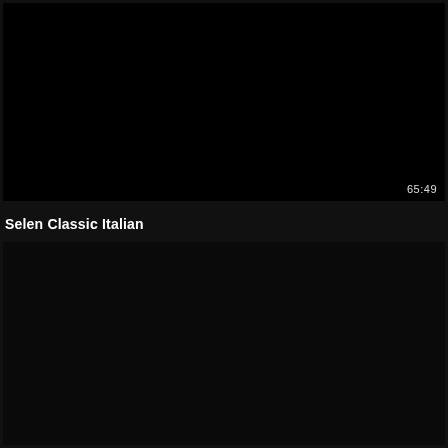[Figure (screenshot): Black video player thumbnail, top panel, showing timestamp 65:49 in bottom right corner]
Selen Classic Italian
[Figure (screenshot): Black video player thumbnail, bottom panel, mostly dark/black content]